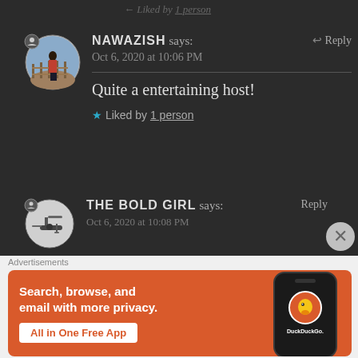Liked by 1 person
NAWAZISH says:
Oct 6, 2020 at 10:06 PM
Quite a entertaining host!
Liked by 1 person
THE BOLD GIRL says:
Oct 6, 2020 at 10:08 PM
[Figure (photo): DuckDuckGo advertisement banner showing a phone with DuckDuckGo logo. Text: Search, browse, and email with more privacy. All in One Free App]
Advertisements